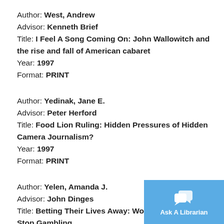Author: West, Andrew
Advisor: Kenneth Brief
Title: I Feel A Song Coming On: John Wallowitch and the rise and fall of American cabaret
Year: 1997
Format: PRINT
Author: Yedinak, Jane E.
Advisor: Peter Herford
Title: Food Lion Ruling: Hidden Pressures of Hidden Camera Journalism?
Year: 1997
Format: PRINT
Author: Yelen, Amanda J.
Advisor: John Dinges
Title: Betting Their Lives Away: Women W... Stop Gambling